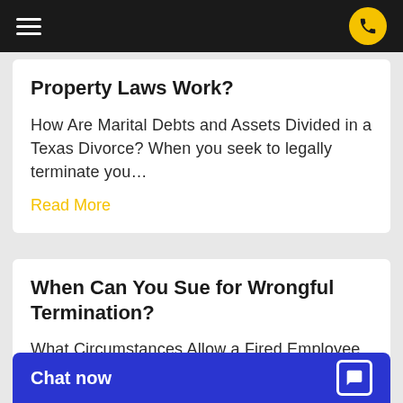[Navigation bar with hamburger menu and phone button]
Property Laws Work?
How Are Marital Debts and Assets Divided in a Texas Divorce? When you seek to legally terminate you…
Read More
When Can You Sue for Wrongful Termination?
What Circumstances Allow a Fired Employee to Re[cover] Losses Incurred[...]
Chat now